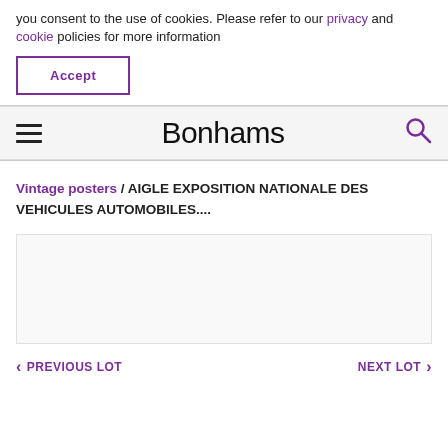you consent to the use of cookies. Please refer to our privacy and cookie policies for more information
Accept
Bonhams
Vintage posters / AIGLE EXPOSITION NATIONALE DES VEHICULES AUTOMOBILES....
[Figure (other): White/light grey empty image placeholder box]
< PREVIOUS LOT    NEXT LOT >